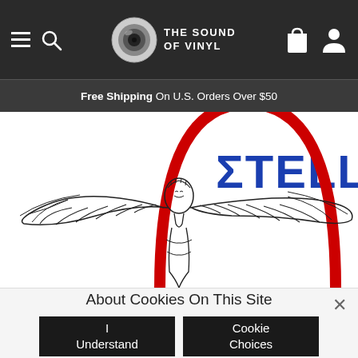The Sound of Vinyl — navigation bar with hamburger menu, search, logo, cart and user icons
Free Shipping On U.S. Orders Over $50
[Figure (illustration): Album artwork showing a winged angel figure with outstretched wings and a large red arch overhead. Blue text reads 'STELLA' in the upper right.]
About Cookies On This Site
I Understand
Cookie Choices